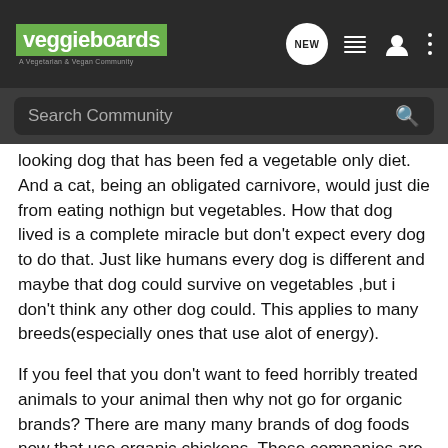veggieboards — A Vegetarian & Vegan Community
Search Community
looking dog that has been fed a vegetable only diet. And a cat, being an obligated carnivore, would just die from eating nothign but vegetables. How that dog lived is a complete miracle but don't expect every dog to do that. Just like humans every dog is different and maybe that dog could survive on vegetables ,but i don't think any other dog could. This applies to many breeds(especially ones that use alot of energy).
If you feel that you don't want to feed horribly treated animals to your animal then why not go for organic brands? There are many many brands of dog foods now that use organic chickens. These companies are small so you can trust they can use organic chicken(i know for companies like iams organic chicken would be ridiculous, and you'd know they'd be lying). These brands are not cheap, but they are better than feeding any soy-based or cheap chicken-based dog foods.